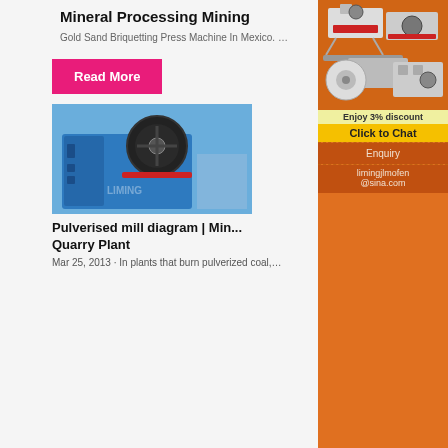Mineral Processing Mining
Gold Sand Briquetting Press Machine In Mexico. …
Read More
[Figure (photo): Blue jaw crusher machine with black flywheel, watermarked LIMING]
Pulverised mill diagram | Min... Quarry Plant
Mar 25, 2013 · In plants that burn pulverized coal,…
[Figure (other): Sidebar advertisement showing mining/crushing equipment with orange background, 'Enjoy 3% discount', 'Click to Chat' button, Enquiry section, and limingjlmofen@sina.com contact]